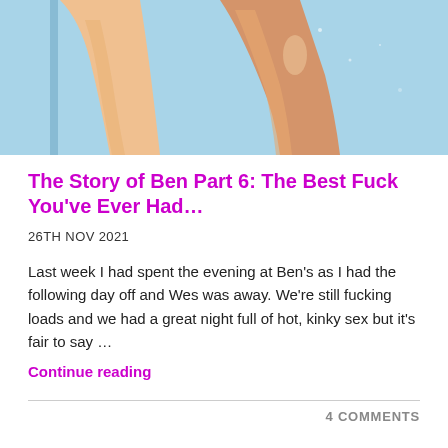[Figure (illustration): Anime-style illustration showing lower body / legs of a character against a blue background]
The Story of Ben Part 6: The Best Fuck You've Ever Had…
26TH NOV 2021
Last week I had spent the evening at Ben's as I had the following day off and Wes was away. We're still fucking loads and we had a great night full of hot, kinky sex but it's fair to say …
Continue reading
4 COMMENTS